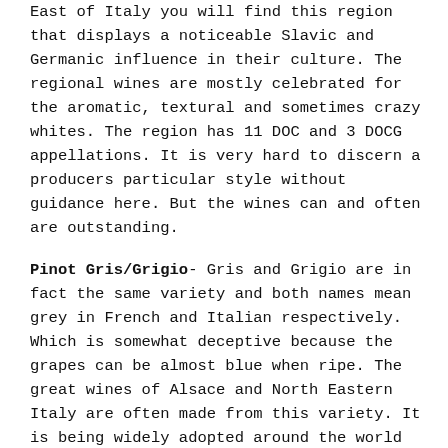East of Italy you will find this region that displays a noticeable Slavic and Germanic influence in their culture. The regional wines are mostly celebrated for the aromatic, textural and sometimes crazy whites. The region has 11 DOC and 3 DOCG appellations. It is very hard to discern a producers particular style without guidance here. But the wines can and often are outstanding.
Pinot Gris/Grigio- Gris and Grigio are in fact the same variety and both names mean grey in French and Italian respectively. Which is somewhat deceptive because the grapes can be almost blue when ripe. The great wines of Alsace and North Eastern Italy are often made from this variety. It is being widely adopted around the world too.